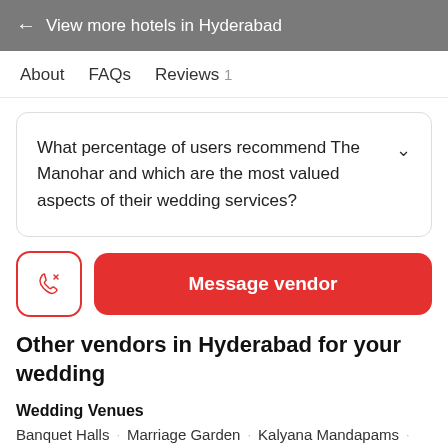← View more hotels in Hyderabad
About   FAQs   Reviews 1
What percentage of users recommend The Manohar and which are the most valued aspects of their wedding services?
Message vendor
Other vendors in Hyderabad for your wedding
Wedding Venues
Banquet Halls · Marriage Garden · Kalyana Mandapams ·